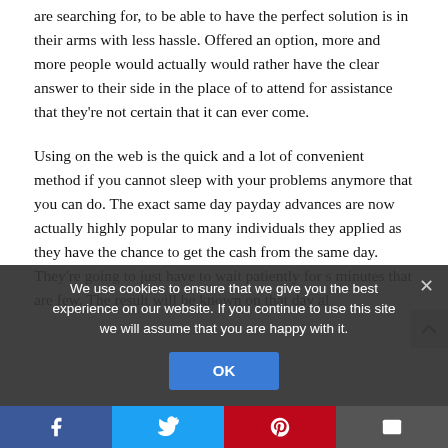are searching for, to be able to have the perfect solution is in their arms with less hassle. Offered an option, more and more people would actually would rather have the clear answer to their side in the place of to attend for assistance that they're not certain that it can ever come.
Using on the web is the quick and a lot of convenient method if you cannot sleep with your problems anymore that you can do. The exact same day payday advances are now actually highly popular to many individuals they applied as they have the chance to get the cash from the same day. They're going to just have to wait patiently for s minutes that are few. The result will be known on that day al
We use cookies to ensure that we give you the best experience on our website. If you continue to use this site we will assume that you are happy with it.
OK